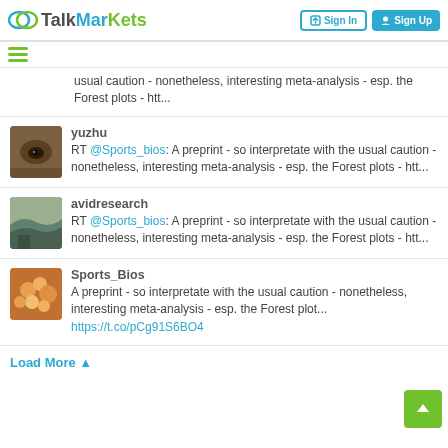TalkMarkets — Sign In | Sign Up
usual caution - nonetheless, interesting meta-analysis - esp. the Forest plots - htt...
yuzhu
RT @Sports_bios: A preprint - so interpretate with the usual caution - nonetheless, interesting meta-analysis - esp. the Forest plots - htt...
avidresearch
RT @Sports_bios: A preprint - so interpretate with the usual caution - nonetheless, interesting meta-analysis - esp. the Forest plots - htt...
Sports_Bios
A preprint - so interpretate with the usual caution - nonetheless, interesting meta-analysis - esp. the Forest plot... https://t.co/pCg91S6BO4
Load More ▲